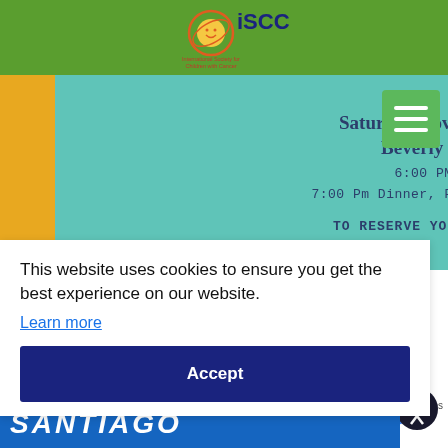[Figure (logo): ISCC (International Society for Children with Cancer) logo with smiley face sun graphic in red/orange circle on green header bar]
Saturday November 12th, 2022
Beverly Hilton Hotel
6:00 PM Reception
7:00 Pm Dinner, Fundraising and Music
TO RESERVE YOUR TABLES, OR FOR
This website uses cookies to ensure you get the best experience on our website.
Learn more
Accept
Privacy · Terms
[Figure (logo): reCAPTCHA logo]
[Figure (illustration): Accessibility icon - person in circle symbol]
SANTIAGO